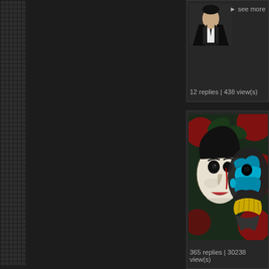[Figure (screenshot): Left sidebar with dark background and grid of small square cells pattern]
[Figure (screenshot): Dark center panel area]
▶ see more
[Figure (illustration): Avatar/profile image of a male character in suit]
12 replies | 438 view(s)
[Figure (illustration): Theatrical mask artwork showing two-faced jester/drama mask with red and teal colors]
365 replies | 30238 view(s)
[Figure (illustration): Same theatrical mask artwork repeated below]